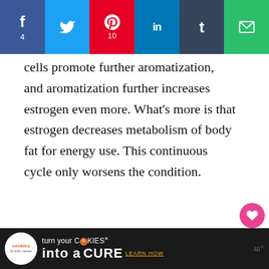[Figure (screenshot): Social share bar with Facebook (4), Twitter, Pinterest (10), LinkedIn, Tumblr, and Email buttons]
cells promote further aromatization, and aromatization further increases estrogen even more. What's more is that estrogen decreases metabolism of body fat for energy use. This continuous cycle only worsens the condition.
[Figure (screenshot): Floating right-side buttons: heart/like button with count 15, and share button]
[Figure (screenshot): Bottom advertisement banner: Cookies for Kids Cancer — turn your COOKIES into a CURE LEARN HOW]